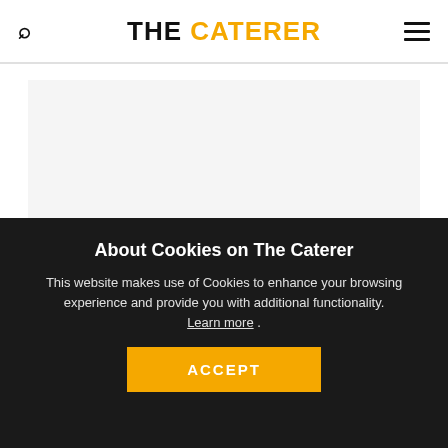THE CATERER
The Caterer Breakfast Briefing Email
About Cookies on The Caterer
This website makes use of Cookies to enhance your browsing experience and provide you with additional functionality. Learn more .
ACCEPT